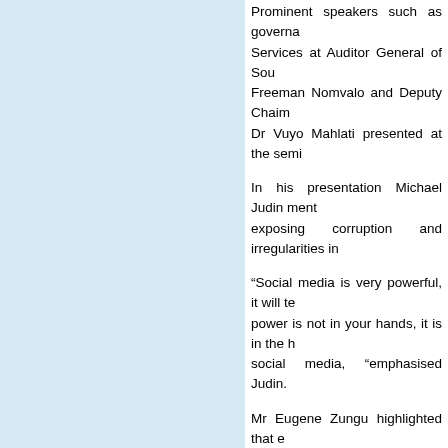Prominent speakers such as governance experts, Services at Auditor General of South Africa, Freeman Nomvalo and Deputy Chairm... Dr Vuyo Mahlati presented at the semi...
In his presentation Michael Judin ment... exposing corruption and irregularities in...
“Social media is very powerful, it will te... power is not in your hands, it is in the h... social media, “emphasised Judin.
Mr Eugene Zungu highlighted that e... and is closer to achieving a clean audi...
“eThekwini Municipality has passed th... has done very well in the last two y... important that eThekwini Municipality ... their part, areas of concern should be f...
BELOW ARE THE KEY STRATEGIC ...
1.     The narrative of governance mus... government to best represent the inter... INVESTED INTERESTS
2.     Need to focus on MAKING our ID... ...ACCOUNTABLE